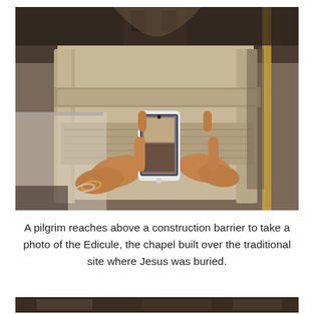[Figure (photo): A pilgrim's hands held up above a construction barrier, holding a smartphone to photograph the ornate stone facade of the Edicule inside the Church of the Holy Sepulchre. The baroque architectural details of the chapel are visible in the background, with warm beige stone carvings and columns rising up against a domed ceiling.]
A pilgrim reaches above a construction barrier to take a photo of the Edicule, the chapel built over the traditional site where Jesus was buried.
[Figure (photo): Partial view of another photograph at the bottom of the page, showing a dark interior scene.]